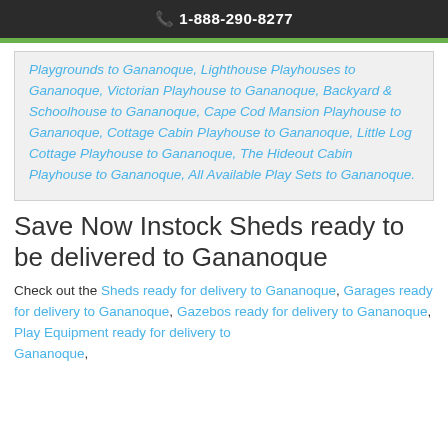1-888-290-8277
Playgrounds to Gananoque, Lighthouse Playhouses to Gananoque, Victorian Playhouse to Gananoque, Backyard & Schoolhouse to Gananoque, Cape Cod Mansion Playhouse to Gananoque, Cottage Cabin Playhouse to Gananoque, Little Log Cottage Playhouse to Gananoque, The Hideout Cabin Playhouse to Gananoque, All Available Play Sets to Gananoque.
Save Now Instock Sheds ready to be delivered to Gananoque
Check out the Sheds ready for delivery to Gananoque, Garages ready for delivery to Gananoque, Gazebos ready for delivery to Gananoque, Play Equipment ready for delivery to Gananoque,